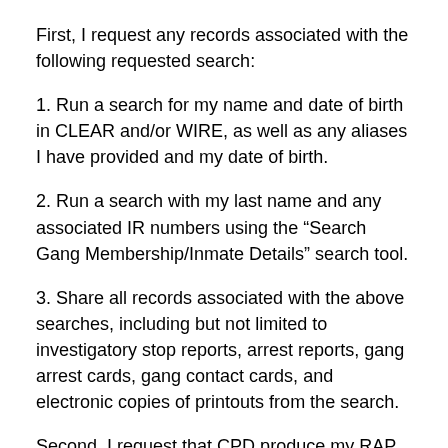First, I request any records associated with the following requested search:
1. Run a search for my name and date of birth in CLEAR and/or WIRE, as well as any aliases I have provided and my date of birth.
2. Run a search with my last name and any associated IR numbers using the “Search Gang Membership/Inmate Details” search tool.
3. Share all records associated with the above searches, including but not limited to investigatory stop reports, arrest reports, gang arrest cards, gang contact cards, and electronic copies of printouts from the search.
Second, I request that CPD produce my RAP sheet/criminal history, arrest reports, contacts cards